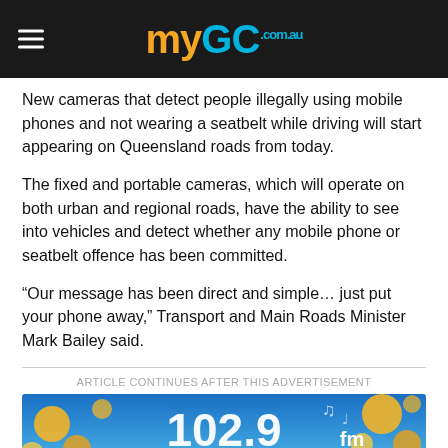myGC.com.au
New cameras that detect people illegally using mobile phones and not wearing a seatbelt while driving will start appearing on Queensland roads from today.
The fixed and portable cameras, which will operate on both urban and regional roads, have the ability to see into vehicles and detect whether any mobile phone or seatbelt offence has been committed.
“Our message has been direct and simple… just put your phone away,” Transport and Main Roads Minister Mark Bailey said.
ARTICLE CONTINUES AFTER THIS ADVERTISEMENT
[Figure (photo): Advertisement banner for 102.9 FM radio and RnB Rooftop Party event on Saturday September 10 at CSi Club Southport]